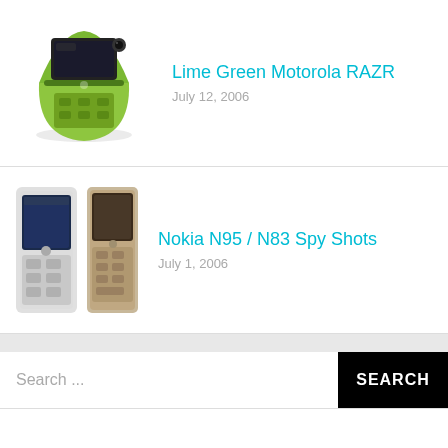[Figure (photo): Lime green Motorola RAZR flip phone, open at angle, showing camera and screen]
Lime Green Motorola RAZR
July 12, 2006
[Figure (photo): Two Nokia N95/N83 spy shot images of prototype phones, front views]
Nokia N95 / N83 Spy Shots
July 1, 2006
Search ...
SEARCH